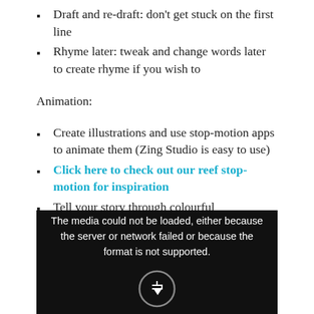Draft and re-draft: don't get stuck on the first line
Rhyme later: tweak and change words later to create rhyme if you wish to
Animation:
Create illustrations and use stop-motion apps to animate them (Zing Studio is easy to use)
Click here to check out our reef stop-motion for inspiration
Tell your story through colourful infographics or posters
[Figure (screenshot): Black media player box with error message: 'The media could not be loaded, either because the server or network failed or because the format is not supported.' with a circular icon at the bottom.]